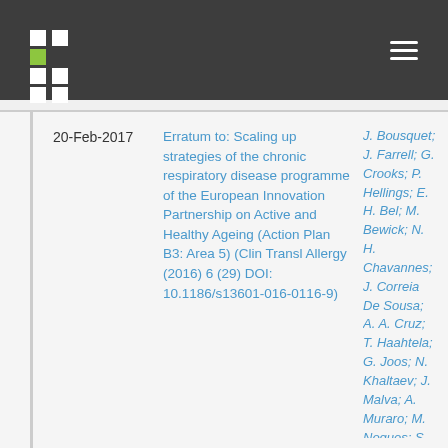20-Feb-2017
Erratum to: Scaling up strategies of the chronic respiratory disease programme of the European Innovation Partnership on Active and Healthy Ageing (Action Plan B3: Area 5) (Clin Transl Allergy (2016) 6 (29) DOI: 10.1186/s13601-016-0116-9)
J. Bousquet; J. Farrell; G. Crooks; P. Hellings; E. H. Bel; M. Bewick; N. H. Chavannes; J. Correia De Sousa; A. A. Cruz; T. Haahtela; G. Joos; N. Khaltaev; J. Malva; A. Muraro; M. Nogues; S. Palkonen; S. Pedersen; C. Robalo-Cordeiro; B. Samolinski; T. Strandberg; A. Valiulis; A. Yorgancioglu; T. Zuberbier; A. Bedbrook; W. Aberer;